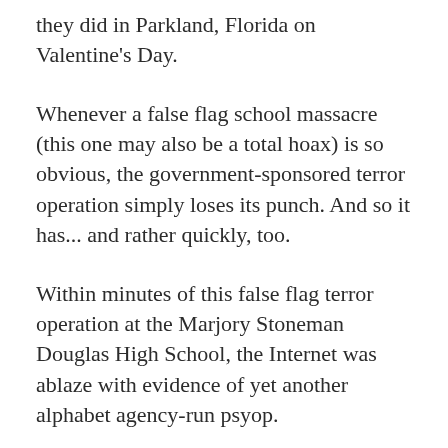they did in Parkland, Florida on Valentine's Day.
Whenever a false flag school massacre (this one may also be a total hoax) is so obvious, the government-sponsored terror operation simply loses its punch. And so it has... and rather quickly, too.
Within minutes of this false flag terror operation at the Marjory Stoneman Douglas High School, the Internet was ablaze with evidence of yet another alphabet agency-run psyop.